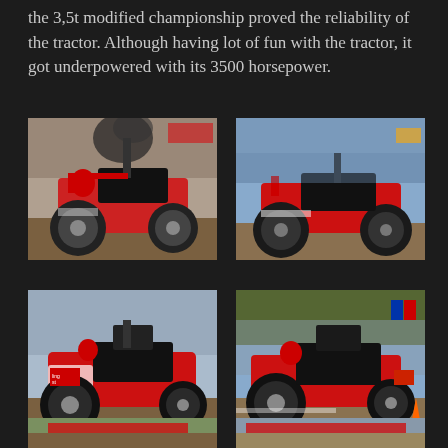the 3,5t modified championship proved the reliability of the tractor. Although having lot of fun with the tractor, it got underpowered with its 3500 horsepower.
[Figure (photo): Red modified tractor pulling vehicle at a competition event, emitting black smoke from exhaust, crowd visible in background, dirt track surface.]
[Figure (photo): Red modified tractor pulling vehicle at a competition event, sunny day, crowd in background, on a dirt track.]
[Figure (photo): Red modified tractor pulling vehicle at a competition event, rear view, crowd visible in background.]
[Figure (photo): Red modified tractor pulling vehicle at a competition event, outdoor venue with flags, large crowd, cones on track.]
[Figure (photo): Red modified tractor pulling vehicle at a competition, partially visible at bottom of page.]
[Figure (photo): Another tractor pulling vehicle partially visible at bottom of page.]